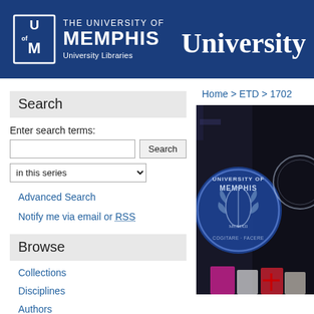THE UNIVERSITY OF MEMPHIS University Libraries | University
Home > ETD > 1702
Search
Enter search terms:
in this series
Advanced Search
Notify me via email or RSS
Browse
Collections
Disciplines
Authors
[Figure (photo): University of Memphis seal/logo on a podium or display stand, photographed at a ceremony with dark background]